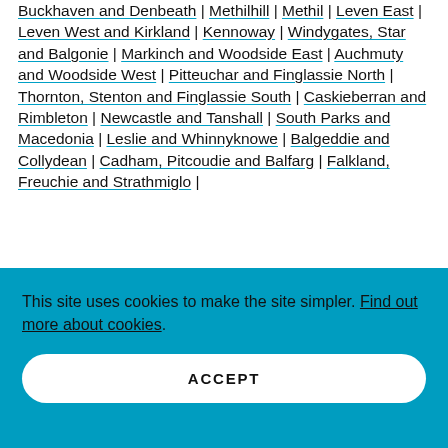Buckhaven and Denbeath | Methilhill | Methil | Leven East | Leven West and Kirkland | Kennoway | Windygates, Star and Balgonie | Markinch and Woodside East | Auchmuty and Woodside West | Pitteuchar and Finglassie North | Thornton, Stenton and Finglassie South | Caskieberran and Rimbleton | Newcastle and Tanshall | South Parks and Macedonia | Leslie and Whinnyknowe | Balgeddie and Collydean | Cadham, Pitcoudie and Balfarg | Falkland, Freuchie and Strathmiglo |
This site uses cookies to make the site simpler. Find out more about cookies.
ACCEPT